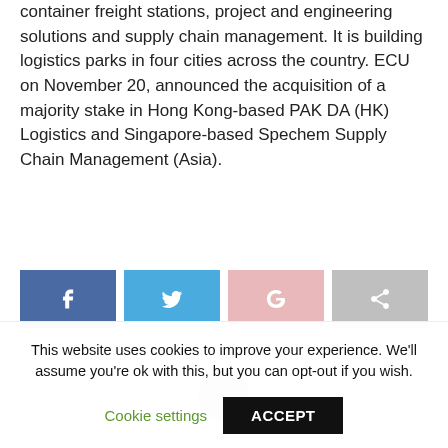container freight stations, project and engineering solutions and supply chain management. It is building logistics parks in four cities across the country. ECU on November 20, announced the acquisition of a majority stake in Hong Kong-based PAK DA (HK) Logistics and Singapore-based Spechem Supply Chain Management (Asia).
[Figure (other): Social share buttons: Facebook, Twitter, Google+, and a generic share button]
[Figure (other): Author box with circular avatar placeholder]
This website uses cookies to improve your experience. We'll assume you're ok with this, but you can opt-out if you wish.
Cookie settings  ACCEPT